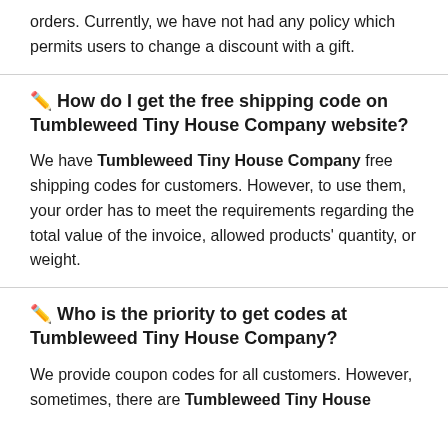orders. Currently, we have not had any policy which permits users to change a discount with a gift.
✏️ How do I get the free shipping code on Tumbleweed Tiny House Company website?
We have Tumbleweed Tiny House Company free shipping codes for customers. However, to use them, your order has to meet the requirements regarding the total value of the invoice, allowed products' quantity, or weight.
✏️ Who is the priority to get codes at Tumbleweed Tiny House Company?
We provide coupon codes for all customers. However, sometimes, there are Tumbleweed Tiny House